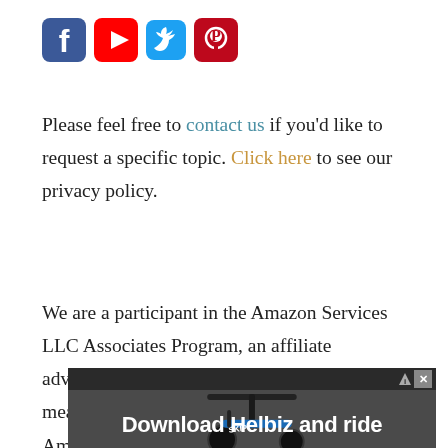[Figure (illustration): Social media icons: Facebook (blue), YouTube (red), Twitter (cyan/blue), Pinterest (dark red)]
Please feel free to contact us if you'd like to request a specific topic. Click here to see our privacy policy.
We are a participant in the Amazon Services LLC Associates Program, an affiliate advertising program designed to provide a means for us to earn fees by linking to Amazon.com and
[Figure (screenshot): Advertisement banner for Helbiz showing a scooter with text 'Download Helbiz and ride']